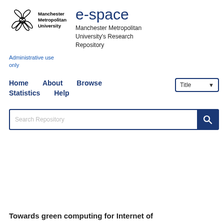[Figure (logo): Manchester Metropolitan University logo with flower/petal emblem and text]
e-space
Manchester Metropolitan University's Research Repository
Administrative use only
Home   About   Browse   Statistics   Help
Search Repository
Or Advanced Search
Towards green computing for Internet of